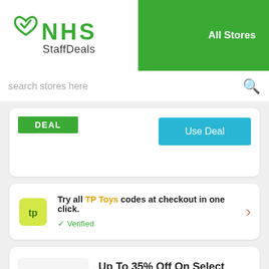[Figure (logo): NHS StaffDeals logo with green heart and checkmark icon]
All Stores
search stores here
DEAL
Use Deal
Try all TP Toys codes at checkout in one click.
✓ Verified
Up To 35% Off On Select Items At TP Toys
35%
Expires 4-11-22